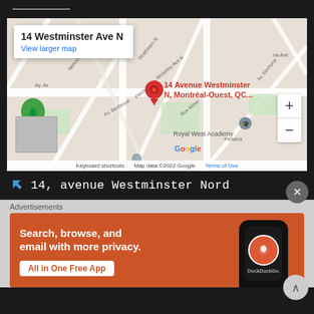[Figure (map): Google Maps screenshot showing 14 Westminster Ave N / 14 Avenue Westminster N, Montréal-Ouest, QC. Map shows surrounding streets including Nelson S, Strathearn N, Wolseley Ave N, Percival Ave, Av. Bedbrook, Rue Miner, Fenwick, and Royal West Academy. Red location pin placed on the address. Zoom controls (+/-) visible on right side.]
14 Westminster Ave N
View larger map
14 Avenue Westminster N, Montréal-Ouest, QC...
Keyboard shortcuts   Map data ©2022 Google   Terms of Use
14, avenue Westminster Nord
[Figure (screenshot): DuckDuckGo advertisement banner: 'Search, browse, and email with more privacy. All in One Free App' with DuckDuckGo logo on a phone mockup. Orange/rust colored background.]
Advertisements
Search, browse, and email with more privacy.
All in One Free App